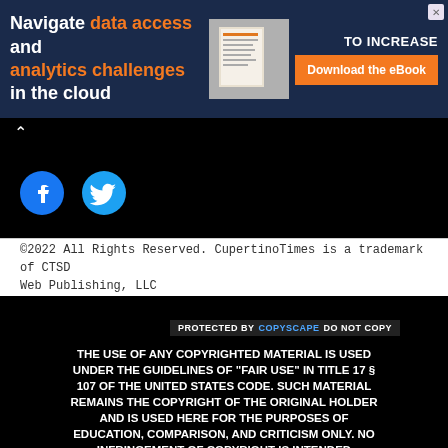[Figure (other): Advertisement banner with dark blue background. Text reads: Navigate data access and analytics challenges in the cloud. TO INCREASE. Download the eBook button in orange.]
[Figure (other): Navigation bar with up caret chevron icon on black background, followed by Facebook and Twitter social media icons in blue on black background.]
©2022 All Rights Reserved. CupertinoTimes is a trademark of CTSD Web Publishing, LLC
[Figure (other): PROTECTED BY COPYSCAPE DO NOT COPY badge/watermark on dark background.]
THE USE OF ANY COPYRIGHTED MATERIAL IS USED UNDER THE GUIDELINES OF "FAIR USE" IN TITLE 17 § 107 OF THE UNITED STATES CODE. SUCH MATERIAL REMAINS THE COPYRIGHT OF THE ORIGINAL HOLDER AND IS USED HERE FOR THE PURPOSES OF EDUCATION, COMPARISON, AND CRITICISM ONLY. NO INFRINGEMENT OF COPYRIGHT IS INTENDED